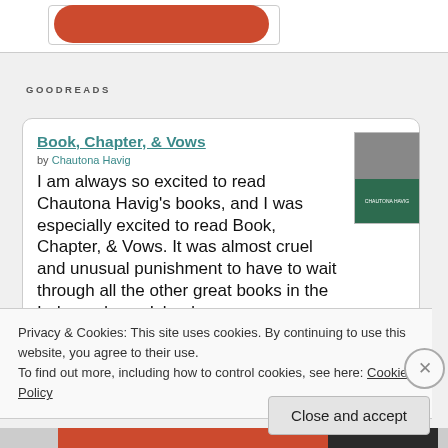[Figure (screenshot): Red rounded button partially visible at the top of a white card]
GOODREADS
Book, Chapter, & Vows
by Chautona Havig
I am always so excited to read Chautona Havig's books, and I was especially excited to read Book, Chapter, & Vows. It was almost cruel and unusual punishment to have to wait through all the other great books in the Independence Islands s...
Privacy & Cookies: This site uses cookies. By continuing to use this website, you agree to their use.
To find out more, including how to control cookies, see here: Cookie Policy
Close and accept